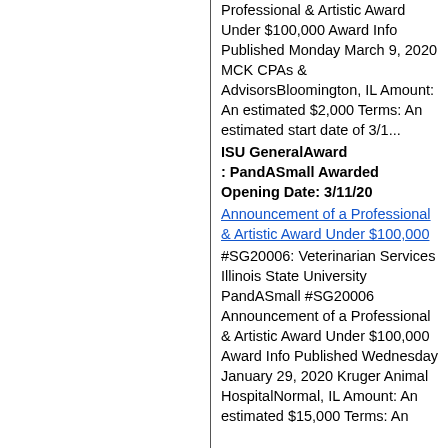Professional & Artistic Award Under $100,000 Award Info Published Monday March 9, 2020 MCK CPAs & AdvisorsBloomington, IL Amount: An estimated $2,000 Terms: An estimated start date of 3/1...
ISU GeneralAward : PandASmall Awarded Opening Date: 3/11/20
Announcement of a Professional & Artistic Award Under $100,000
#SG20006: Veterinarian Services Illinois State University PandASmall #SG20006 Announcement of a Professional & Artistic Award Under $100,000 Award Info Published Wednesday January 29, 2020 Kruger Animal HospitalNormal, IL Amount: An estimated $15,000 Terms: An